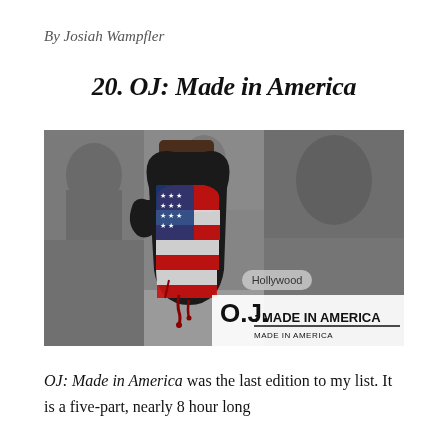By Josiah Wampfler
20. OJ: Made in America
[Figure (photo): Movie poster for 'O.J.: Made in America' featuring a gloved hand painted with the American flag design (red, white, blue stripes and stars) against a black-and-white photo collage background showing OJ Simpson at various points in his life. The title 'O.J.: MADE IN AMERICA' appears in bold text at the bottom right, with 'Hollywood' in a small label above it.]
OJ: Made in America was the last edition to my list. It is a five-part, nearly 8 hour long